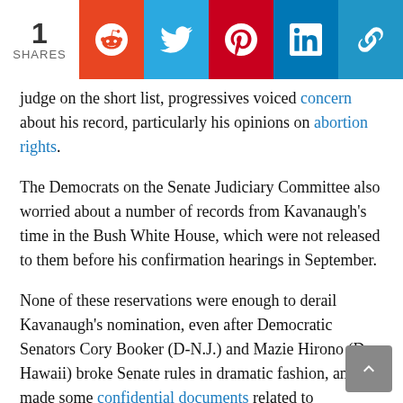[Figure (infographic): Social share bar with count '1 SHARES' and icons for Reddit, Twitter, Pinterest, LinkedIn, and a link/copy button]
judge on the short list, progressives voiced concern about his record, particularly his opinions on abortion rights.
The Democrats on the Senate Judiciary Committee also worried about a number of records from Kavanaugh's time in the Bush White House, which were not released to them before his confirmation hearings in September.
None of these reservations were enough to derail Kavanaugh's nomination, even after Democratic Senators Cory Booker (D-N.J.) and Mazie Hirono (D-Hawaii) broke Senate rules in dramatic fashion, and made some confidential documents related to Kavanaugh's records public.